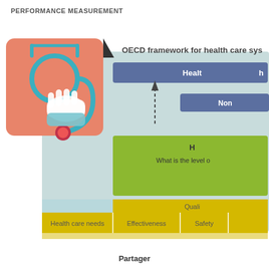PERFORMANCE MEASUREMENT
[Figure (infographic): OECD framework for health care system performance measurement diagram. Shows a stethoscope icon on the left (orange/salmon background), overlapping a large light-blue background panel. Within the panel: a dark blue bar labeled 'Health...' at top, a smaller dark blue bar labeled 'Non...' below and right, a dashed upward arrow between them, a green box labeled 'H...' with text 'What is the level o...', a light blue band below the green box, a yellow-gold band labeled 'Quali...' and at the bottom row: 'Health care needs', 'Effectiveness', 'Safety'. Bottom of diagram shows the start of another row.]
Partager